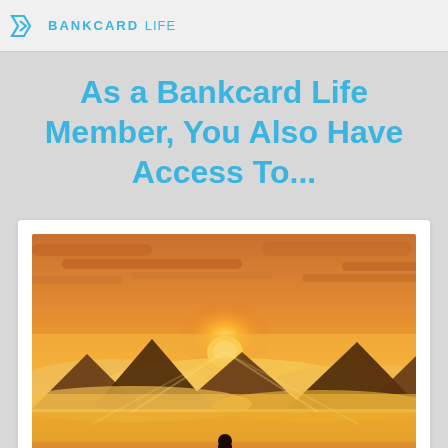BANKCARD LIFE
As a Bankcard Life Member, You Also Have Access To...
[Figure (photo): A silhouetted person standing on a rocky peak above a sea of clouds with a bright golden sunrise in the background, mountains visible in the distance.]